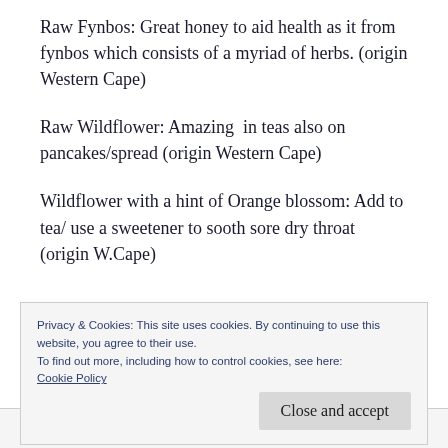Raw Fynbos: Great honey to aid health as it from fynbos which consists of a myriad of herbs. (origin Western Cape)
Raw Wildflower: Amazing  in teas also on pancakes/spread (origin Western Cape)
Wildflower with a hint of Orange blossom: Add to tea/ use a sweetener to sooth sore dry throat  (origin W.Cape)
Privacy & Cookies: This site uses cookies. By continuing to use this website, you agree to their use.
To find out more, including how to control cookies, see here: Cookie Policy
rich medicinal honey with a pungant taste...